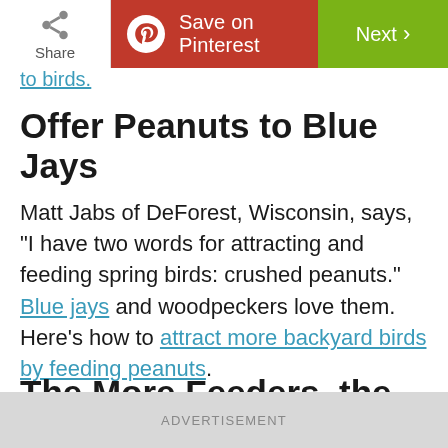Share | Save on Pinterest | Next
to birds.
Offer Peanuts to Blue Jays
Matt Jabs of DeForest, Wisconsin, says, "I have two words for attracting and feeding spring birds: crushed peanuts." Blue jays and woodpeckers love them. Here's how to attract more backyard birds by feeding peanuts.
The More Feeders, the Merrier
ADVERTISEMENT